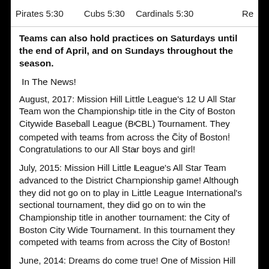Pirates 5:30   Cubs 5:30   Cardinals 5:30   Re
Teams can also hold practices on Saturdays until the end of April, and on Sundays throughout the season.
In The News!
August, 2017: Mission Hill Little League's 12 U All Star Team won the Championship title in the City of Boston Citywide Baseball League (BCBL) Tournament. They competed with teams from across the City of Boston! Congratulations to our All Star boys and girl!
July, 2015: Mission Hill Little League's All Star Team advanced to the District Championship game! Although they did not go on to play in Little League International's sectional tournament, they did go on to win the Championship title in another tournament: the City of Boston City Wide Tournament. In this tournament they competed with teams from across the City of Boston!
June, 2014: Dreams do come true! One of Mission Hill Little